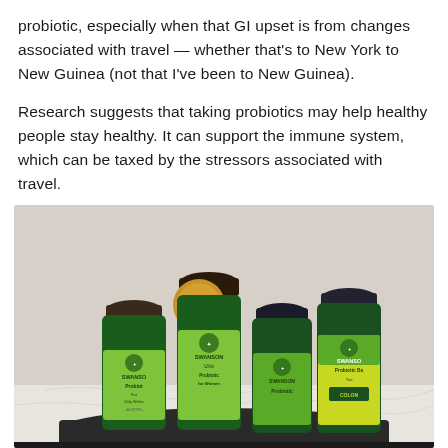probiotic, especially when that GI upset is from changes associated with travel — whether that's to New York to New Guinea (not that I've been to New Guinea).
Research suggests that taking probiotics may help healthy people stay healthy. It can support the immune system, which can be taxed by the stressors associated with travel.
[Figure (photo): A group of five dark green Swanson brand probiotic supplement bottles arranged together on a dark circular tray against a light marble background. Visible labels include Swanson Probiotics For Daily Wellness, Swanson Ultra Probiotic for Women, Swanson Probiotic, and Swanson Probiotic Balance with COLON text visible.]